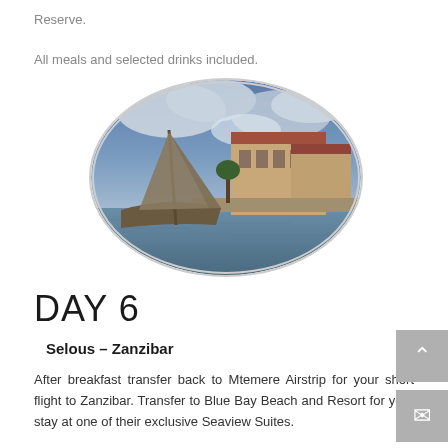Reserve.
All meals and selected drinks included.
[Figure (photo): Oval-framed photo of a traditional dhow sailboat on water with historic stone buildings and a dramatic cloudy sky in Zanzibar.]
DAY 6
Selous – Zanzibar
After breakfast transfer back to Mtemere Airstrip for your short flight to Zanzibar. Transfer to Blue Bay Beach and Resort for your stay at one of their exclusive Seaview Suites.